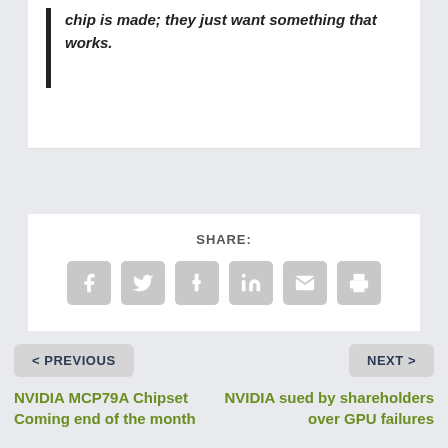chip is made; they just want something that works.
SHARE:
[Figure (other): Row of 6 social share icon buttons (Facebook, Twitter, Tumblr, LinkedIn, Email, Print) in grey rounded square buttons]
< PREVIOUS
NEXT >
NVIDIA MCP79A Chipset Coming end of the month
NVIDIA sued by shareholders over GPU failures